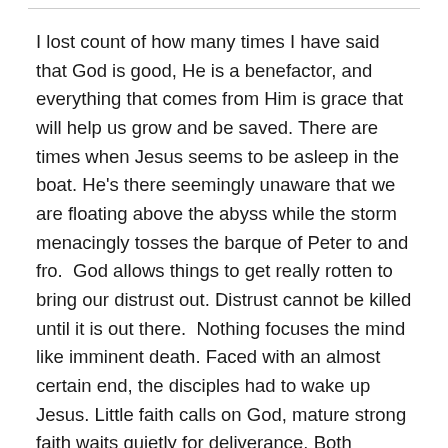I lost count of how many times I have said that God is good, He is a benefactor, and everything that comes from Him is grace that will help us grow and be saved. There are times when Jesus seems to be asleep in the boat. He's there seemingly unaware that we are floating above the abyss while the storm menacingly tosses the barque of Peter to and fro.  God allows things to get really rotten to bring our distrust out. Distrust cannot be killed until it is out there.  Nothing focuses the mind like imminent death. Faced with an almost certain end, the disciples had to wake up Jesus. Little faith calls on God, mature strong faith waits quietly for deliverance. Both attitudes are good. The ones with little faith will grow it, the ones with strong faith will